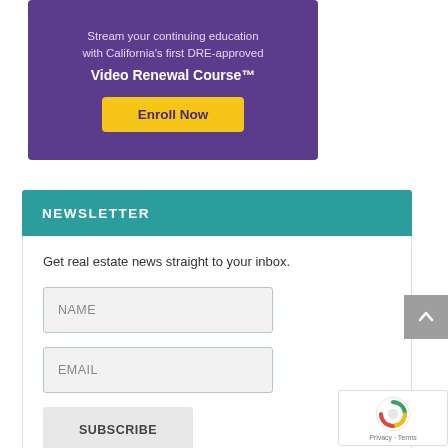[Figure (other): Purple advertisement banner for Video Renewal Course with 'Enroll Now' yellow button. Text: 'Stream your continuing education with California's first DRE-approved Video Renewal Course™']
NEWSLETTER
Get real estate news straight to your inbox.
NAME
EMAIL
SUBSCRIBE